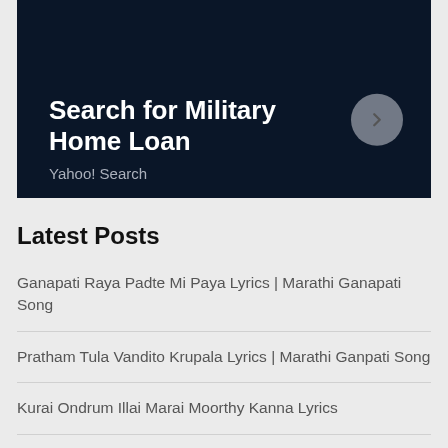[Figure (screenshot): Advertisement banner for Military Home Loan via Yahoo! Search, dark navy background with white bold text and a right-arrow button]
Latest Posts
Ganapati Raya Padte Mi Paya Lyrics | Marathi Ganapati Song
Pratham Tula Vandito Krupala Lyrics | Marathi Ganpati Song
Kurai Ondrum Illai Marai Moorthy Kanna Lyrics
Haddi First Look – Mesmerising Getup of Nawazuddin Siddiqui
Nodavalandava Moggina Maale Chandava Lyrics